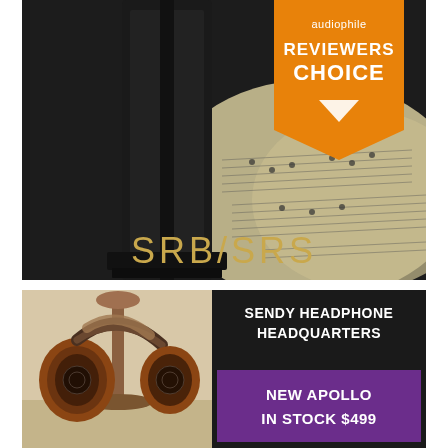[Figure (photo): Advertisement for SRB/SRS audio speakers. Dark background showing a black tower speaker next to open sheet music pages. Orange banner badge in top right corner reads 'audiophile REVIEWERS CHOICE' with a downward triangle. Gold text at bottom reads 'SRB/SRS'.]
[Figure (photo): Advertisement for Sendy headphones. Shows wooden/leather open-back headphones hanging on a stand. Dark panel on right side reads 'SENDY HEADPHONE HEADQUARTERS' and 'NEW APOLLO IN STOCK $499'.]